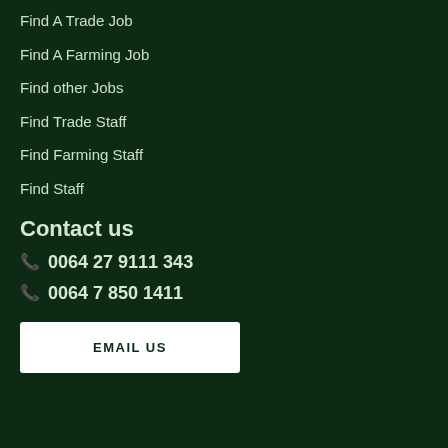Find A Trade Job
Find A Farming Job
Find other Jobs
Find Trade Staff
Find Farming Staff
Find Staff
Contact us
📞 0064 27 9111 343
📞 0064 7 850 1411
EMAIL US